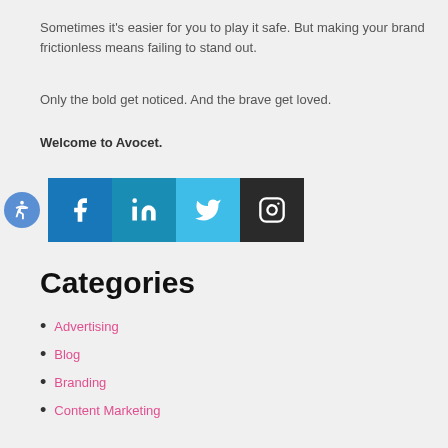Sometimes it's easier for you to play it safe. But making your brand frictionless means failing to stand out.
Only the bold get noticed. And the brave get loved.
Welcome to Avocet.
[Figure (infographic): Row of social media icons: accessibility button, Facebook, LinkedIn, Twitter, Instagram]
Categories
Advertising
Blog
Branding
Content Marketing